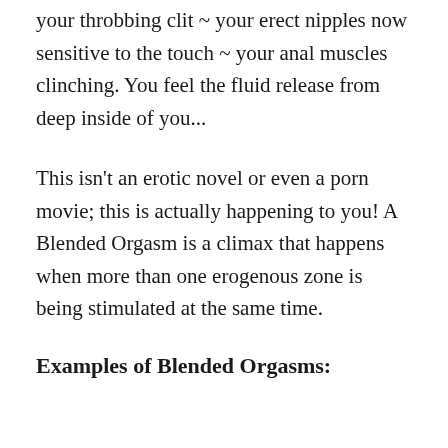your throbbing clit ~ your erect nipples now sensitive to the touch ~ your anal muscles clinching. You feel the fluid release from deep inside of you...
This isn't an erotic novel or even a porn movie; this is actually happening to you! A Blended Orgasm is a climax that happens when more than one erogenous zone is being stimulated at the same time.
Examples of Blended Orgasms: